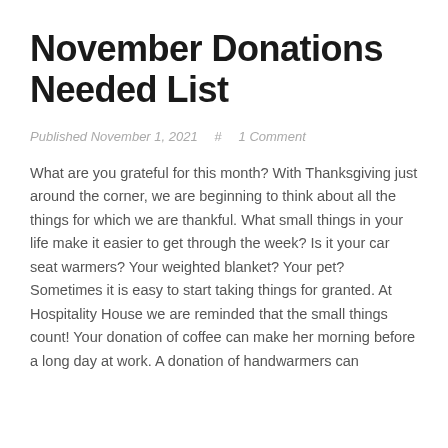November Donations Needed List
Published November 1, 2021    #    1 Comment
What are you grateful for this month? With Thanksgiving just around the corner, we are beginning to think about all the things for which we are thankful. What small things in your life make it easier to get through the week? Is it your car seat warmers? Your weighted blanket? Your pet? Sometimes it is easy to start taking things for granted. At Hospitality House we are reminded that the small things count! Your donation of coffee can make her morning before a long day at work. A donation of handwarmers can